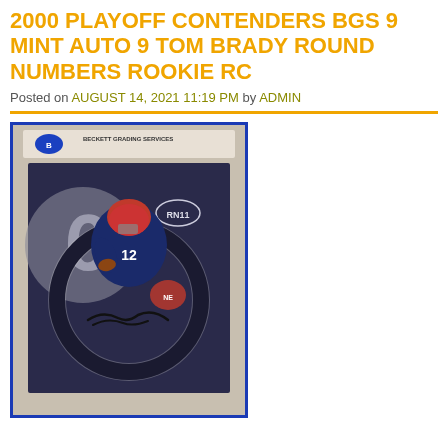2000 PLAYOFF CONTENDERS BGS 9 MINT AUTO 9 TOM BRADY ROUND NUMBERS ROOKIE RC
Posted on AUGUST 14, 2021 11:19 PM by ADMIN
[Figure (photo): Photo of a 2000 Playoff Contenders Tom Brady Round Numbers Rookie RC card graded BGS 9 Mint Auto 9, shown in a Beckett Grading Services slab with blue border. The card shows Tom Brady in New England Patriots uniform with jersey number 12, with a circular 'Round Numbers' design and RN11 designation, and Brady's autograph on the card.]